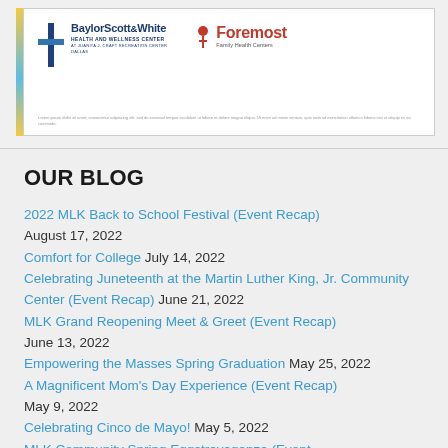[Figure (logo): BaylorScott&White Health and Wellness Center at Juanita J. Craft Recreation Center, Dallas logo alongside Foremost Family Health Centers logo, with small disclaimer text at the bottom of the box.]
OUR BLOG
2022 MLK Back to School Festival (Event Recap) August 17, 2022
Comfort for College July 14, 2022
Celebrating Juneteenth at the Martin Luther King, Jr. Community Center (Event Recap) June 21, 2022
MLK Grand Reopening Meet & Greet (Event Recap) June 13, 2022
Empowering the Masses Spring Graduation May 25, 2022
A Magnificent Mom's Day Experience (Event Recap) May 9, 2022
Celebrating Cinco de Mayo! May 5, 2022
MLK Community Spring Eggstravaganza (Event